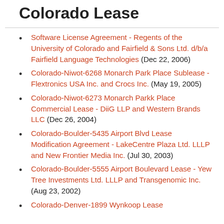Colorado Lease
Software License Agreement - Regents of the University of Colorado and Fairfield & Sons Ltd. d/b/a Fairfield Language Technologies (Dec 22, 2006)
Colorado-Niwot-6268 Monarch Park Place Sublease - Flextronics USA Inc. and Crocs Inc. (May 19, 2005)
Colorado-Niwot-6273 Monarch Parkk Place Commercial Lease - DiiG LLP and Western Brands LLC (Dec 26, 2004)
Colorado-Boulder-5435 Airport Blvd Lease Modification Agreement - LakeCentre Plaza Ltd. LLLP and New Frontier Media Inc. (Jul 30, 2003)
Colorado-Boulder-5555 Airport Boulevard Lease - Yew Tree Investments Ltd. LLLP and Transgenomic Inc. (Aug 23, 2002)
Colorado-Denver-1899 Wynkoop Lease